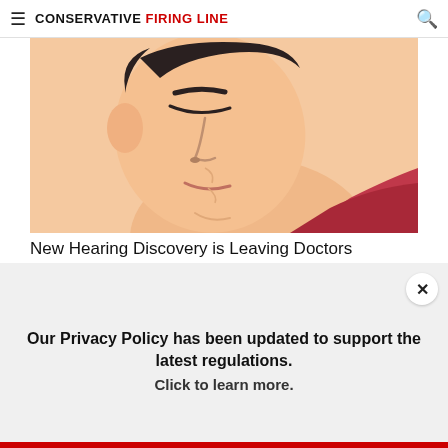CONSERVATIVE FIRING LINE
[Figure (illustration): Illustrated close-up of a person tilting their head sideways, eyes closed, with short dark hair and wearing a red shirt, on a peach/beige background]
New Hearing Discovery is Leaving Doctors Speechless
SonoVive
[Figure (photo): Close-up photo of dry, scaly skin texture in brown tones]
Our Privacy Policy has been updated to support the latest regulations.
Click to learn more.